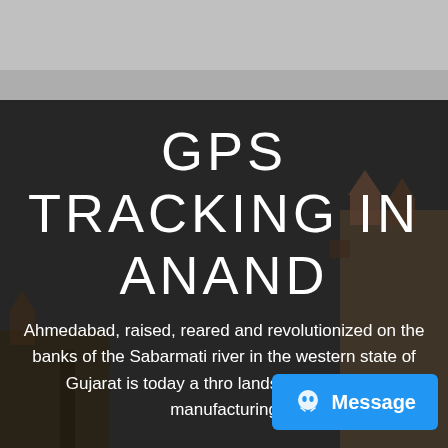[Figure (photo): Dark background photo of an Indian city/temple (Anand/Ahmedabad area) with architectural structures visible on the right side, overlaid with a dark semi-transparent layer. Top portion shows a lighter grey sky area.]
GPS TRACKING IN ANAND
Ahmedabad, raised, reared and revolutionized on the banks of the Sabarmati river in the western state of Gujarat is today a thro landscape of trade, manufacturing